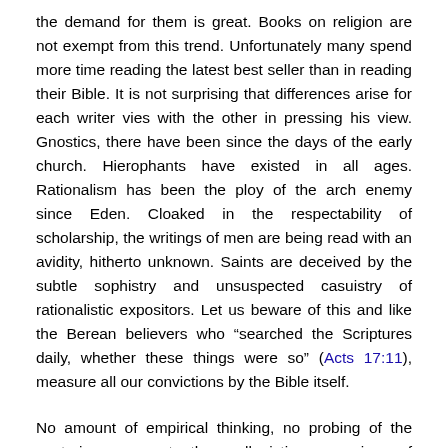the demand for them is great. Books on religion are not exempt from this trend. Unfortunately many spend more time reading the latest best seller than in reading their Bible. It is not surprising that differences arise for each writer vies with the other in pressing his view. Gnostics, there have been since the days of the early church. Hierophants have existed in all ages. Rationalism has been the ploy of the arch enemy since Eden. Cloaked in the respectability of scholarship, the writings of men are being read with an avidity, hitherto unknown. Saints are deceived by the subtle sophistry and unsuspected casuistry of rationalistic expositors. Let us beware of this and like the Berean believers who “searched the Scriptures daily, whether these things were so” (Acts 17:11), measure all our convictions by the Bible itself.
No amount of empirical thinking, no probing of the esoteric, nor yet the syllogistic reasoning of scholarship can reveal the mind of God. “The things of God knoweth no man but the Spirit of God. Now we have received, not the spirit of this world, but